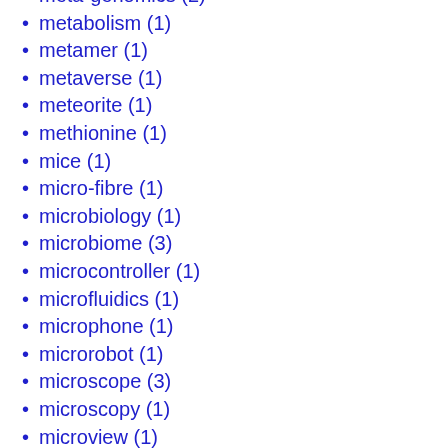meta-genomics (2)
metabolism (1)
metamer (1)
metaverse (1)
meteorite (1)
methionine (1)
mice (1)
micro-fibre (1)
microbiology (1)
microbiome (3)
microcontroller (1)
microfluidics (1)
microphone (1)
microrobot (1)
microscope (3)
microscopy (1)
microview (1)
microwave (2)
military (3)
milk (4)
mind (4)
mineral (1)
mining (5)
miracle berry (1)
miraculin (1)